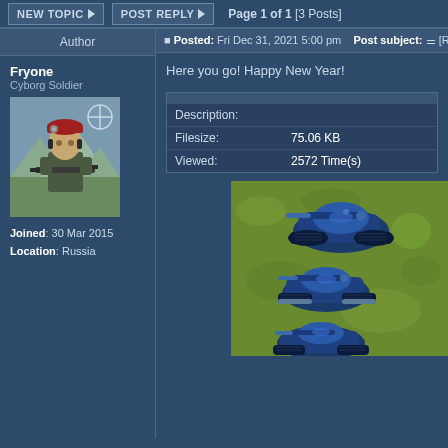NEW TOPIC | POST REPLY | Page 1 of 1 [3 Posts]
| Author |  |
| --- | --- |
| Fryone
Cyborg Soldier
[avatar]
Joined: 30 Mar 2015
Location: Russia | Posted: Fri Dec 31, 2021 5:00 pm  Post subject: [RA2/Y...
Here you go! Happy New Year!
Description:
Filesize: 75.06 KB
Viewed: 2572 Time(s)
[game image] |
Here you go! Happy New Year!
| Description: |  |
| --- | --- |
| Filesize: | 75.06 KB |
| Viewed: | 2572 Time(s) |
[Figure (screenshot): Game screenshot showing blue tanks on green terrain from a top-down perspective, three tanks visible at different vertical positions.]